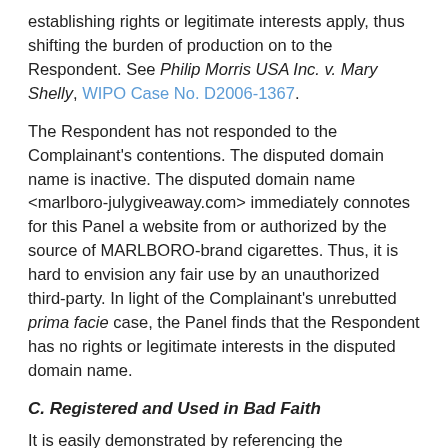establishing rights or legitimate interests apply, thus shifting the burden of production on to the Respondent. See Philip Morris USA Inc. v. Mary Shelly, WIPO Case No. D2006-1367.
The Respondent has not responded to the Complainant's contentions. The disputed domain name is inactive. The disputed domain name <marlboro-julygiveaway.com> immediately connotes for this Panel a website from or authorized by the source of MARLBORO-brand cigarettes. Thus, it is hard to envision any fair use by an unauthorized third-party. In light of the Complainant's unrebutted prima facie case, the Panel finds that the Respondent has no rights or legitimate interests in the disputed domain name.
C. Registered and Used in Bad Faith
It is easily demonstrated by referencing the numerous UDRP decisions holding as such, that the Complainant's MARLBORO trademark is a famous trademark.. The Respondent has failed to establish rights or legitimate interests in the disputed domain name.